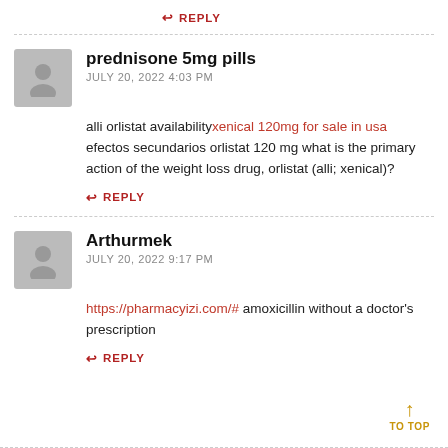↩ REPLY
prednisone 5mg pills
JULY 20, 2022 4:03 PM
alli orlistat availability xenical 120mg for sale in usa efectos secundarios orlistat 120 mg what is the primary action of the weight loss drug, orlistat (alli; xenical)?
↩ REPLY
Arthurmek
JULY 20, 2022 9:17 PM
https://pharmacyizi.com/# amoxicillin without a doctor's prescription
↩ REPLY
TO TOP